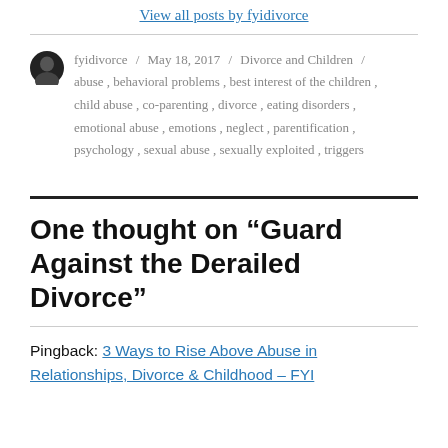View all posts by fyidivorce
fyidivorce / May 18, 2017 / Divorce and Children / abuse, behavioral problems, best interest of the children, child abuse, co-parenting, divorce, eating disorders, emotional abuse, emotions, neglect, parentification, psychology, sexual abuse, sexually exploited, triggers
One thought on “Guard Against the Derailed Divorce”
Pingback: 3 Ways to Rise Above Abuse in Relationships, Divorce & Childhood – FYI